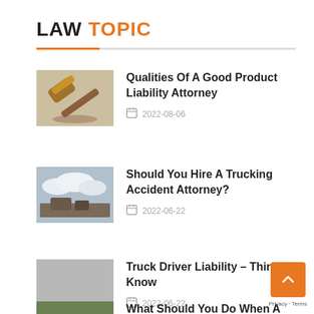LAW TOPIC
Qualities Of A Good Product Liability Attorney
Should You Hire A Trucking Accident Attorney?
Truck Driver Liability – Things To Know
What Should You Do When A